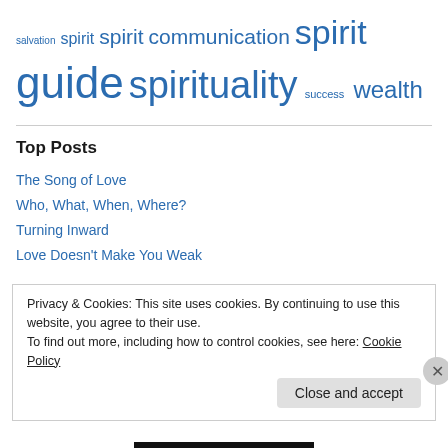[Figure (other): Tag cloud with spiritual/religious terms in varying font sizes, all in blue: salvation, spirit (medium), spirit (large), communication, spirit (very large), guide (very large), spirituality (very large), success (small), wealth (large)]
Top Posts
The Song of Love
Who, What, When, Where?
Turning Inward
Love Doesn't Make You Weak
Privacy & Cookies: This site uses cookies. By continuing to use this website, you agree to their use.
To find out more, including how to control cookies, see here: Cookie Policy
Close and accept